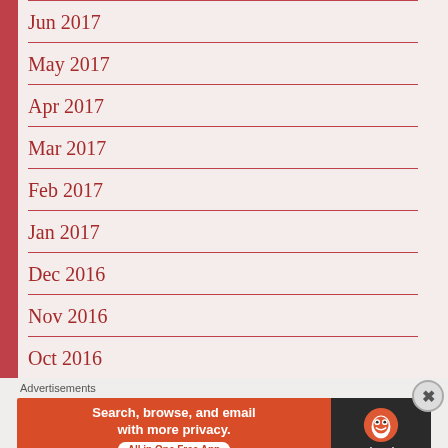Jun 2017
May 2017
Apr 2017
Mar 2017
Feb 2017
Jan 2017
Dec 2016
Nov 2016
Oct 2016
Advertisements
[Figure (infographic): DuckDuckGo advertisement banner: 'Search, browse, and email with more privacy. All in One Free App' with DuckDuckGo logo on dark background.]